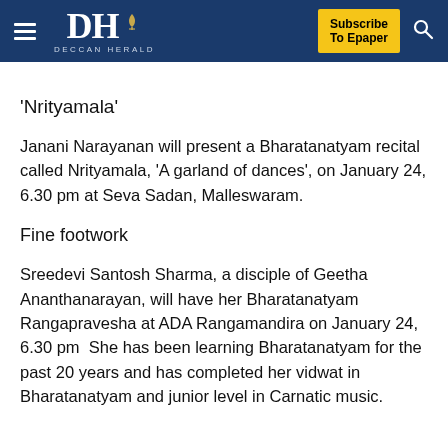Deccan Herald — Subscribe To Epaper
‘Nrityamala’
Janani Narayanan will present a Bharatanatyam recital called Nrityamala, ‘A garland of dances’, on January 24, 6.30 pm at Seva Sadan, Malleswaram.
Fine footwork
Sreedevi Santosh Sharma, a disciple of Geetha Ananthanarayan, will have her Bharatanatyam Rangapravesha at ADA Rangamandira on January 24, 6.30 pm  She has been learning Bharatanatyam for the past 20 years and has completed her vidwat in Bharatanatyam and junior level in Carnatic music.